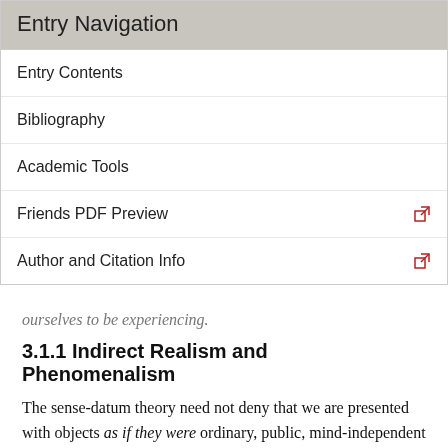Entry Navigation
Entry Contents
Bibliography
Academic Tools
Friends PDF Preview
Author and Citation Info
ourselves to be experiencing.
3.1.1 Indirect Realism and Phenomenalism
The sense-datum theory need not deny that we are presented with objects as if they were ordinary, public, mind-independent objects. But it will insist that this is an error. The things we take ourselves to be aware of are actually sense-data, although this may only be apparent on philosophical reflection. This is an important point, since it shows that the sense-datum theories are not simply refuted (as Harman 1990 seems to argue) by